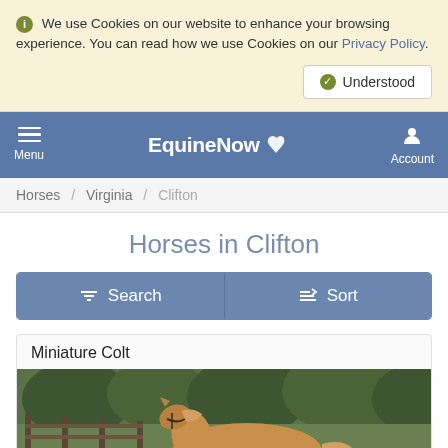We use Cookies on our website to enhance your browsing experience. You can read how we use Cookies on our Privacy Policy.
Understood
EquinNow — Menu | Account
Horses / Virginia / Clifton
Horses in Clifton
Search | Sort
Miniature Colt
[Figure (photo): A palomino miniature horse or foal standing near a wooden fence with green trees in the background]